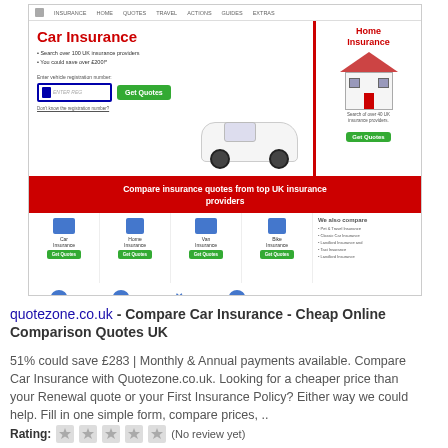[Figure (screenshot): Screenshot of quotezone.co.uk insurance comparison website showing Car Insurance banner with registration input, Get Quotes button, white Fiat 500 car image, Home Insurance panel with house graphic, red bar reading 'Compare insurance quotes from top UK insurance providers', and icon grid for Car, Home, Van, Bike insurance with 'We also compare' sidebar.]
quotezone.co.uk - Compare Car Insurance - Cheap Online Comparison Quotes UK
51% could save £283 | Monthly & Annual payments available. Compare Car Insurance with Quotezone.co.uk. Looking for a cheaper price than your Renewal quote or your First Insurance Policy? Either way we could help. Fill in one simple form, compare prices, ..
Rating: (No review yet)